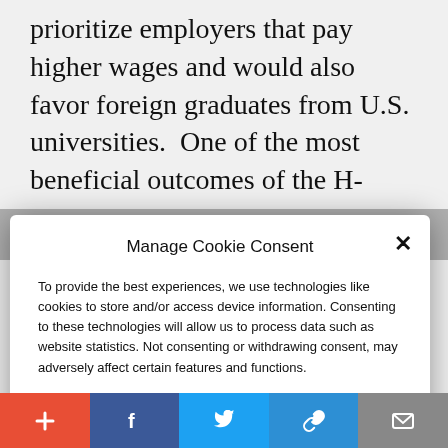prioritize employers that pay higher wages and would also favor foreign graduates from U.S. universities.  One of the most beneficial outcomes of the H-
Manage Cookie Consent
To provide the best experiences, we use technologies like cookies to store and/or access device information. Consenting to these technologies will allow us to process data such as website statistics. Not consenting or withdrawing consent, may adversely affect certain features and functions.
Accept
Cookie Policy  Privacy Policy
exclusively to American citizens for several months before being extended to
+ f 🐦 🔗 ✉